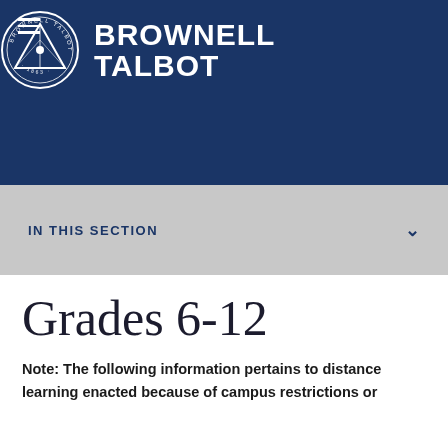Brownell Talbot
IN THIS SECTION
Grades 6-12
Note: The following information pertains to distance learning enacted because of campus restrictions or